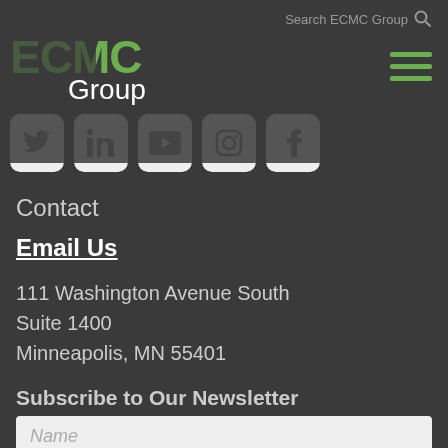Search ECMC Group
[Figure (logo): ECMC Group logo in green and white text]
[Figure (illustration): Hamburger menu icon with three green horizontal lines]
[Figure (illustration): Social media icons row: Twitter, LinkedIn, YouTube, Instagram, Facebook]
Contact
Email Us
111 Washington Avenue South
Suite 1400
Minneapolis, MN 55401
Subscribe to Our Newsletter
Name